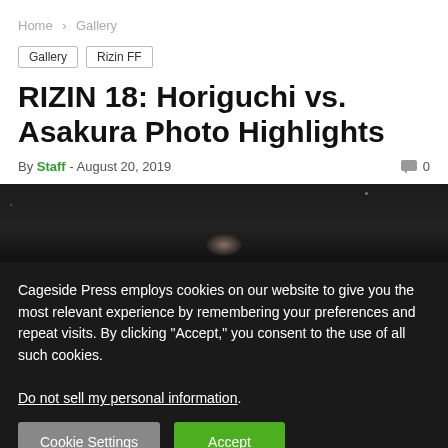Home > Gallery
Gallery
Rizin FF
RIZIN 18: Horiguchi vs. Asakura Photo Highlights
By Staff - August 20, 2019   0
[Figure (photo): Dark arena photo strip showing a faint illuminated figure at the bottom center]
Cageside Press employs cookies on our website to give you the most relevant experience by remembering your preferences and repeat visits. By clicking “Accept,” you consent to the use of all such cookies.
Do not sell my personal information.
Cookie Settings   Accept